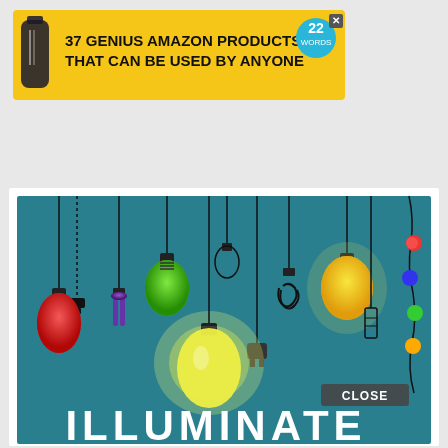[Figure (infographic): Advertisement banner for '37 Genius Amazon Products That Can Be Used By Anyone' with a supplement bottle image on yellow background, a '22' badge, and an X close button]
[Figure (illustration): Book cover illustration showing various hanging light bulbs and electrical fixtures on a teal/dark cyan background. Multiple bulb types including incandescent, CFL, Edison bulbs in various colors (red, green, purple, yellow, orange, multicolor string lights). Large glowing yellow bulb in center-bottom. Text 'ILLUMINATE' in large white bold letters at the bottom. A 'CLOSE' button overlay in bottom-right.]